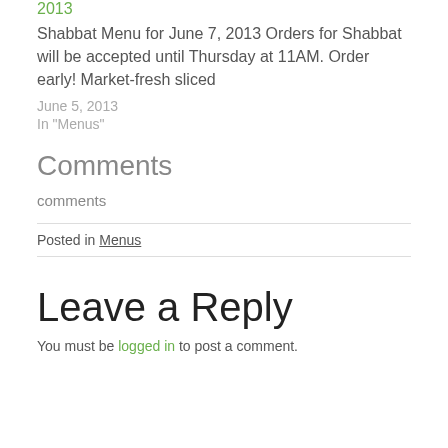2013
Shabbat Menu for June 7, 2013 Orders for Shabbat will be accepted until Thursday at 11AM. Order early! Market-fresh sliced
June 5, 2013
In "Menus"
Comments
comments
Posted in Menus
Leave a Reply
You must be logged in to post a comment.